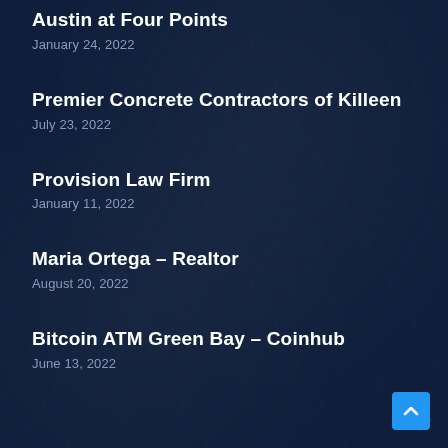Austin at Four Points
January 24, 2022
Premier Concrete Contractors of Killeen
July 23, 2022
Provision Law Firm
January 11, 2022
Maria Ortega – Realtor
August 20, 2022
Bitcoin ATM Green Bay – Coinhub
June 13, 2022